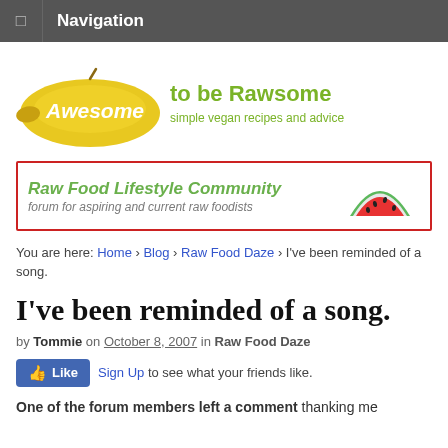Navigation
[Figure (logo): Awesome to be Rawsome logo with yellow mango and green text: 'Awesome to be Rawsome — simple vegan recipes and advice']
[Figure (illustration): Raw Food Lifestyle Community banner ad — 'forum for aspiring and current raw foodists' with watermelon slice image, red border]
You are here: Home › Blog › Raw Food Daze › I've been reminded of a song.
I've been reminded of a song.
by Tommie on October 8, 2007 in Raw Food Daze
[Figure (other): Facebook Like button with 'Sign Up to see what your friends like.']
One of the forum members left a comment thanking me